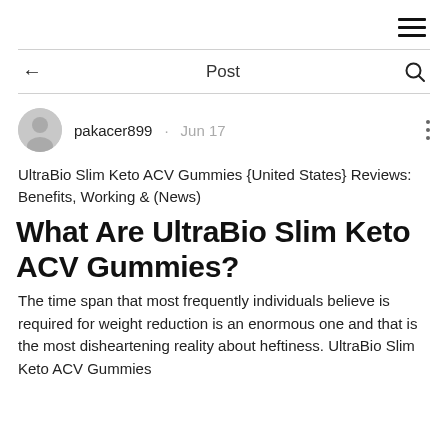≡
← Post 🔍
pakacer899 · Jun 17
UltraBio Slim Keto ACV Gummies {United States} Reviews: Benefits, Working & (News)
What Are UltraBio Slim Keto ACV Gummies?
The time span that most frequently individuals believe is required for weight reduction is an enormous one and that is the most disheartening reality about heftiness. UltraBio Slim Keto ACV Gummies